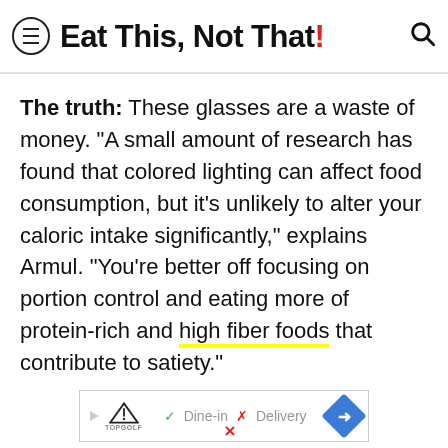Eat This, Not That!
The truth: These glasses are a waste of money. "A small amount of research has found that colored lighting can affect food consumption, but it's unlikely to alter your caloric intake significantly," explains Armul. "You're better off focusing on portion control and eating more of protein-rich and high fiber foods that contribute to satiety."